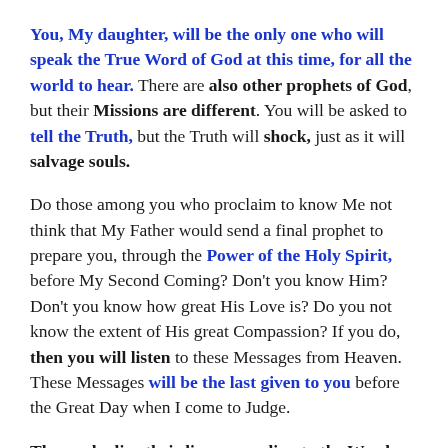You, My daughter, will be the only one who will speak the True Word of God at this time, for all the world to hear. There are also other prophets of God, but their Missions are different. You will be asked to tell the Truth, but the Truth will shock, just as it will salvage souls.
Do those among you who proclaim to know Me not think that My Father would send a final prophet to prepare you, through the Power of the Holy Spirit, before My Second Coming? Don't you know Him? Don't you know how great His Love is? Do you not know the extent of his great Compassion? If you do, then you will listen to these Messages from Heaven. These Messages will be the last given to you before the Great Day when I come to Judge.
Those who live their lives according to the Word